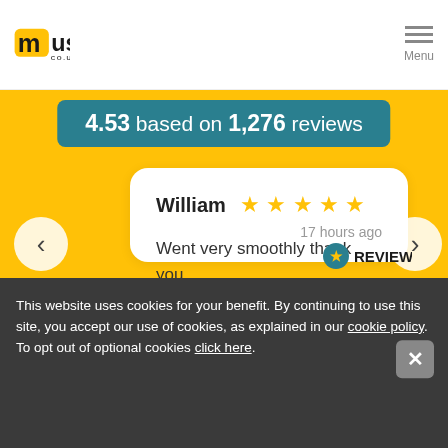mustard CO.UK | Menu
4.53 based on 1,276 reviews
William ★★★★★
Went very smoothly thank you.
17 hours ago
This website uses cookies for your benefit. By continuing to use this site, you accept our use of cookies, as explained in our cookie policy. To opt out of optional cookies click here.